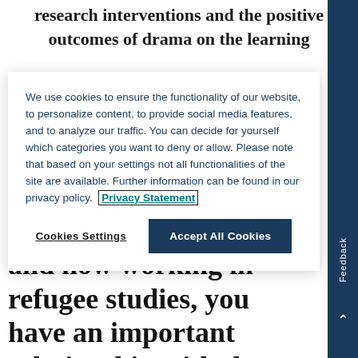research interventions and the positive outcomes of drama on the learning
We use cookies to ensure the functionality of our website, to personalize content, to provide social media features, and to analyze our traffic. You can decide for yourself which categories you want to deny or allow. Please note that based on your settings not all functionalities of the site are available. Further information can be found in our privacy policy.  Privacy Statement
Cookies Settings
Accept All Cookies
2 Having left Syria and now working in refugee studies, you have an important relationship with the